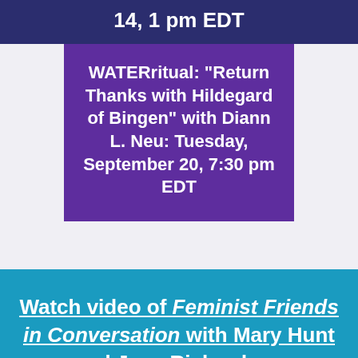14, 1 pm EDT
WATERritual: "Return Thanks with Hildegard of Bingen" with Diann L. Neu: Tuesday, September 20, 7:30 pm EDT
Watch video of Feminist Friends in Conversation with Mary Hunt and Jean Richardson